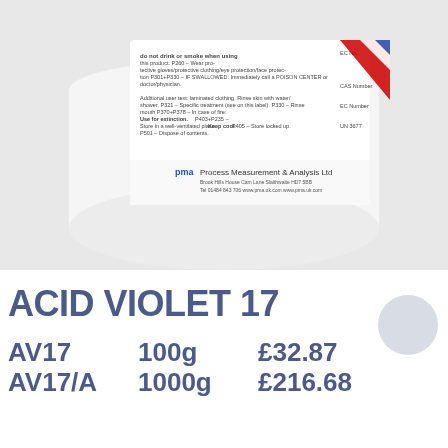[Figure (photo): Photo of back of a white cylindrical container/bottle with a label showing 'Process Measurement & Analysis Ltd' with hazard/safety text, CAS Number, EC Number, UN 3677. The label has a UK flag design element in red, white, and blue.]
ACID VIOLET 17
| Code | Size | Price |
| --- | --- | --- |
| AV17 | 100g | £32.87 |
| AV17/A | 1000g | £216.68 |